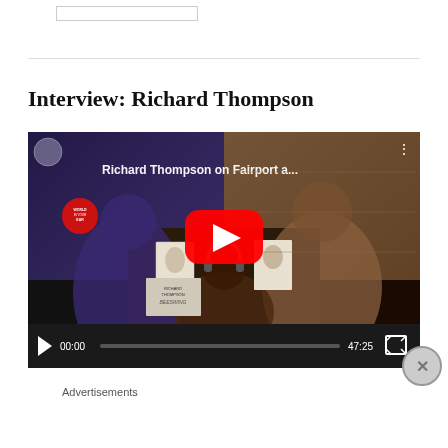[Figure (screenshot): Search box / input field at top of page]
Interview: Richard Thompson
[Figure (screenshot): Embedded YouTube video player showing 'Richard Thompson on Fairport a...' with multiple video call participants holding a book. Play button overlay visible. Playback controls show 00:00 / 47:25.]
Advertisements